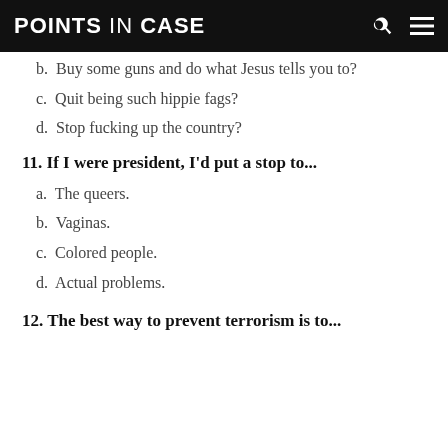POINTS IN CASE
b. Buy some guns and do what Jesus tells you to?
c. Quit being such hippie fags?
d. Stop fucking up the country?
11. If I were president, I'd put a stop to...
a. The queers.
b. Vaginas.
c. Colored people.
d. Actual problems.
12. The best way to prevent terrorism is to...